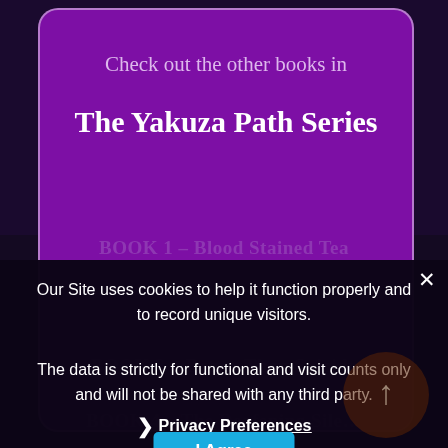Check out the other books in
The Yakuza Path Series
BOOK 1 – Blood Stained Tea
Our Site uses cookies to help it function properly and to record unique visitors.
BOOK 2 – Better Than Suicide
The data is strictly for functional and visit counts only and will not be shared with any third party.
BOOK 4 – The Deafening Sile…
❯  Privacy Preferences
I Agree